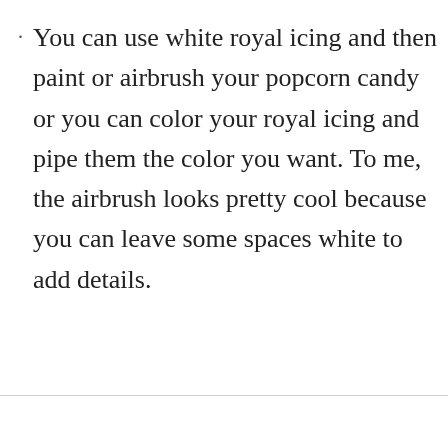You can use white royal icing and then paint or airbrush your popcorn candy or you can color your royal icing and pipe them the color you want. To me, the airbrush looks pretty cool because you can leave some spaces white to add details.